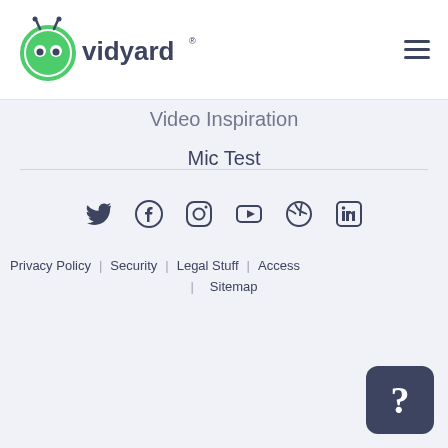[Figure (logo): Vidyard logo: green circle with alien face icon and 'vidyard' text with registered trademark symbol]
Video Inspiration
Mic Test
Cam Test
Developers
Product Updates
Sales Feed
[Figure (infographic): Social media icons row: Twitter, Facebook, Instagram, YouTube, Dribbble, LinkedIn]
Privacy Policy | Security | Legal Stuff | Access | Sitemap